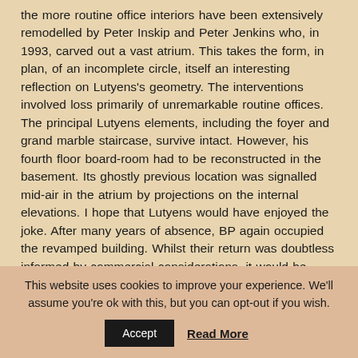the more routine office interiors have been extensively remodelled by Peter Inskip and Peter Jenkins who, in 1993, carved out a vast atrium. This takes the form, in plan, of an incomplete circle, itself an interesting reflection on Lutyens's geometry. The interventions involved loss primarily of unremarkable routine offices. The principal Lutyens elements, including the foyer and grand marble staircase, survive intact. However, his fourth floor board-room had to be reconstructed in the basement. Its ghostly previous location was signalled mid-air in the atrium by projections on the internal elevations. I hope that Lutyens would have enjoyed the joke. After many years of absence, BP again occupied the revamped building. Whilst their return was doubtless informed by commercial considerations, it would be
This website uses cookies to improve your experience. We'll assume you're ok with this, but you can opt-out if you wish.